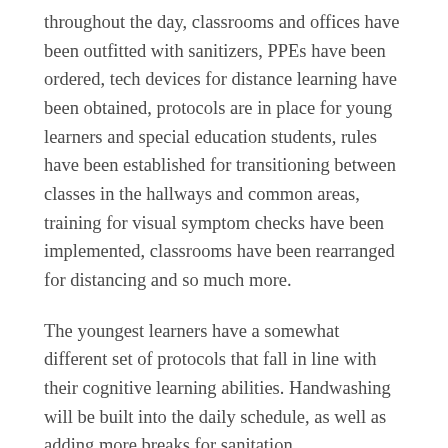throughout the day, classrooms and offices have been outfitted with sanitizers, PPEs have been ordered, tech devices for distance learning have been obtained, protocols are in place for young learners and special education students, rules have been established for transitioning between classes in the hallways and common areas, training for visual symptom checks have been implemented, classrooms have been rearranged for distancing and so much more.
The youngest learners have a somewhat different set of protocols that fall in line with their cognitive learning abilities. Handwashing will be built into the daily schedule, as well as adding more breaks for sanitation.
“We’re building in hand-washing with songs to make sure they spend the appropriate amount of time washing,” Kishimoto explains.